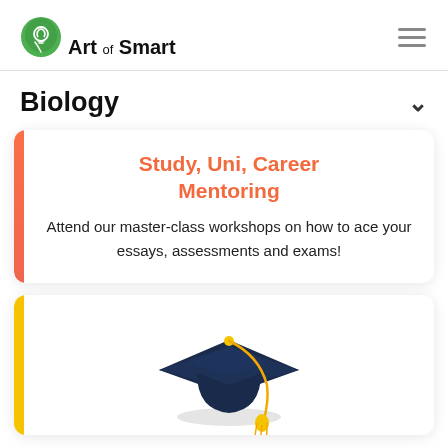[Figure (logo): Art of Smart logo with green leaf icon and text 'Art of Smart']
Biology
[Figure (infographic): Card with red left bar, orange title 'Study, Uni, Career Mentoring' and description text about master-class workshops]
Study, Uni, Career Mentoring
Attend our master-class workshops on how to ace your essays, assessments and exams!
[Figure (illustration): Graduation cap (mortarboard) with gold tassel on yellow-bar card]